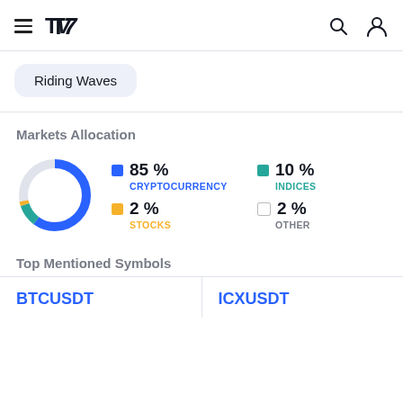TradingView navigation header with hamburger menu, TV logo, search and profile icons
Riding Waves
Markets Allocation
[Figure (donut-chart): Markets Allocation]
Top Mentioned Symbols
BTCUSDT
ICXUSDT